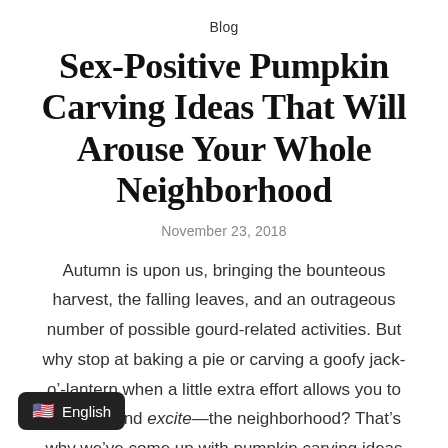Blog
Sex-Positive Pumpkin Carving Ideas That Will Arouse Your Whole Neighborhood
November 23, 2018
Autumn is upon us, bringing the bounteous harvest, the falling leaves, and an outrageous number of possible gourd-related activities. But why stop at baking a pie or carving a goofy jack-o'-lantern when a little extra effort allows you to delight—and excite—the neighborhood? That's why we've come up with pumpkin carving ideas to make every pumpkin sex-positive, allowing you to educate trick-or-treaters and their parents alike!